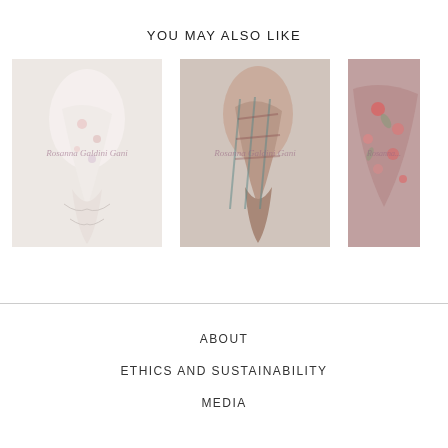YOU MAY ALSO LIKE
[Figure (photo): Product image of scarf SS1035, white/floral, with watermark 'Rosanna Galdini Gani']
SS1035
$90.00
[Figure (photo): Product image of scarf SS1034, multicolor/plaid, with watermark 'Rosanna Galdini Gani']
SS1034
$35.00
[Figure (photo): Partial product image of a third scarf, pink/red floral, with watermark, price partially visible as $30.]
ABOUT
ETHICS AND SUSTAINABILITY
MEDIA